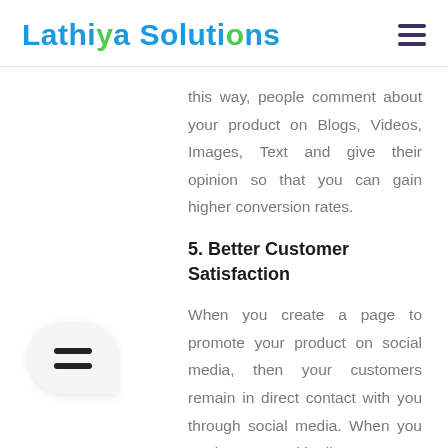Lathiya Solutions
this way, people comment about your product on Blogs, Videos, Images, Text and give their opinion so that you can gain higher conversion rates.
5. Better Customer Satisfaction
When you create a page to promote your product on social media, then your customers remain in direct contact with you through social media. When you are in contact with all your